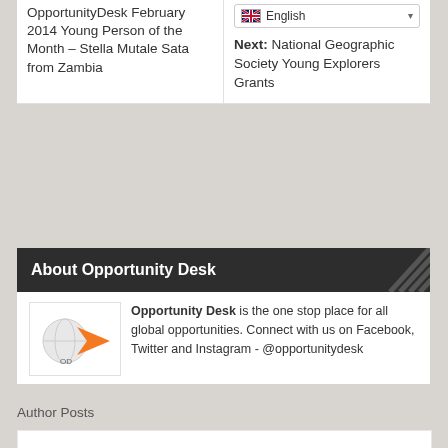OpportunityDesk February 2014 Young Person of the Month – Stella Mutale Sata from Zambia
English
Next: National Geographic Society Young Explorers Grants
About Opportunity Desk
[Figure (logo): Opportunity Desk logo with orange arrow and globe icon]
Opportunity Desk is the one stop place for all global opportunities. Connect with us on Facebook, Twitter and Instagram - @opportunitydesk
Author Posts